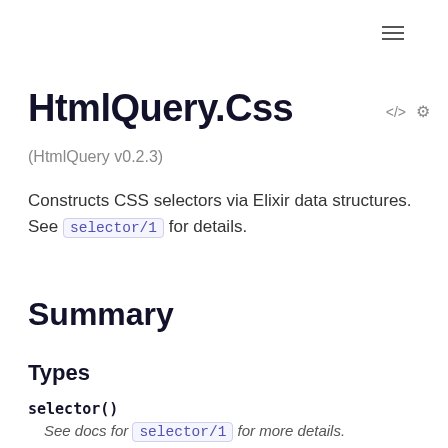≡
HtmlQuery.Css
(HtmlQuery v0.2.3)
Constructs CSS selectors via Elixir data structures. See selector/1 for details.
Summary
Types
selector()
See docs for selector/1 for more details.